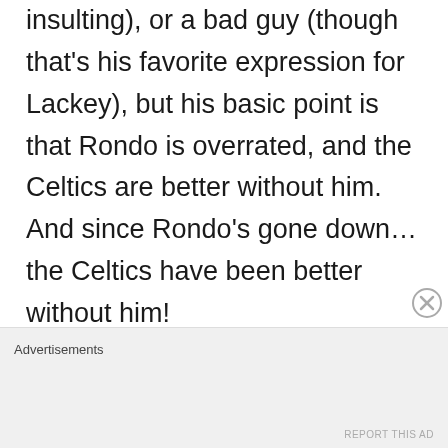insulting), or a bad guy (though that's his favorite expression for Lackey), but his basic point is that Rondo is overrated, and the Celtics are better without him. And since Rondo's gone down…the Celtics have been better without him!

Nobody (except the Celtics) expects the Celtics to beat the Miami Heat, Rondo or no Rondo. But to read the comments on this board, you'd think
Advertisements